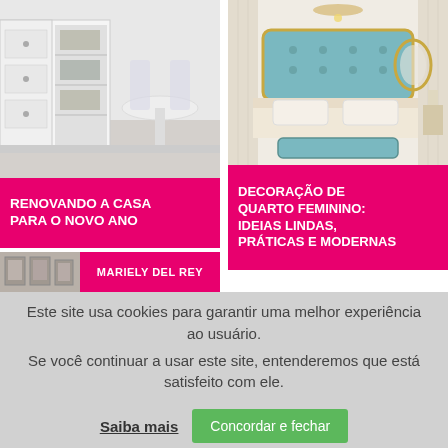[Figure (photo): Modern white kitchen with open shelving and transparent chairs around a round table]
RENOVANDO A CASA PARA O NOVO ANO
[Figure (photo): Elegant feminine bedroom with tufted blue headboard, ornate gold mirror, chandelier and chaise lounge]
DECORAÇÃO DE QUARTO FEMININO: IDEIAS LINDAS, PRÁTICAS E MODERNAS
[Figure (photo): Partial view of framed art photos on a wall]
MARIELY DEL REY
Este site usa cookies para garantir uma melhor experiência ao usuário.
Se você continuar a usar este site, entenderemos que está satisfeito com ele.
Saiba mais
Concordar e fechar